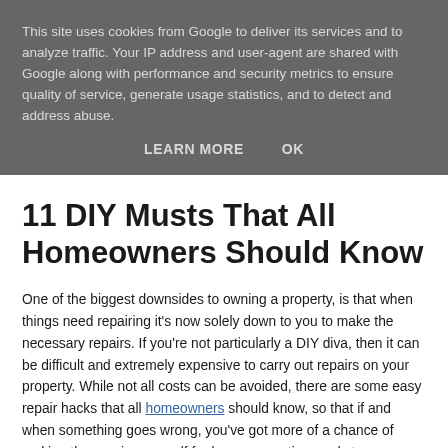This site uses cookies from Google to deliver its services and to analyze traffic. Your IP address and user-agent are shared with Google along with performance and security metrics to ensure quality of service, generate usage statistics, and to detect and address abuse.
LEARN MORE   OK
11 DIY Musts That All Homeowners Should Know
One of the biggest downsides to owning a property, is that when things need repairing it's now solely down to you to make the necessary repairs. If you're not particularly a DIY diva, then it can be difficult and extremely expensive to carry out repairs on your property. While not all costs can be avoided, there are some easy repair hacks that all homeowners should know, so that if and when something goes wrong, you've got more of a chance of making the repairs yourself for less money, time and stress.